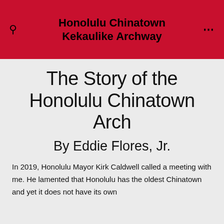Honolulu Chinatown Kekaulike Archway
The Story of the Honolulu Chinatown Arch
By Eddie Flores, Jr.
In 2019, Honolulu Mayor Kirk Caldwell called a meeting with me. He lamented that Honolulu has the oldest Chinatown and yet it does not have its own